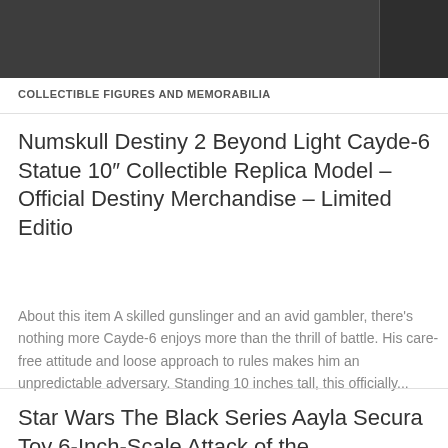COLLECTIBLE FIGURES AND MEMORABILIA
Numskull Destiny 2 Beyond Light Cayde-6 Statue 10″ Collectible Replica Model – Official Destiny Merchandise – Limited Editio
About this item A skilled gunslinger and an avid gambler, there's nothing more Cayde-6 enjoys more than the thrill of battle. His care-free attitude and loose approach to rules makes him an unpredictable adversary. Standing 10 inches tall, this officially...
Star Wars The Black Series Aayla Secura Toy 6-Inch-Scale Attack of the